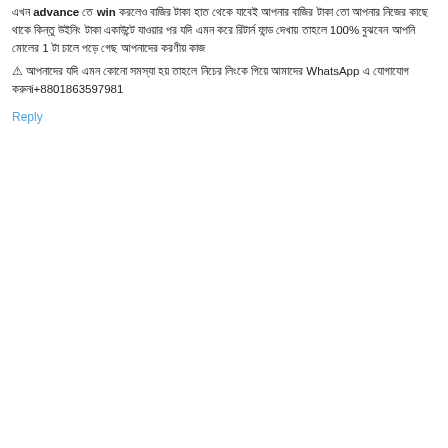এখন advance তে win করলেও বাজির টাকা হাত থেকে যাবেই আপনার বাজির টাকা তো আপনার নিজের কাছে থাকে কিন্তু উইনিং টাকা একাউন্টে যাওয়ার পর যদি এমন করে রিটার্ন ফান্ড দেখায় তাহলে 100% বুঝবেন আপনি মোলের 1 টা চালে পড়ে গেছ আপনাদের করণীয় কাজ
⚠ আপনাদের যদি এমন কোনো সমস্যা হয় তাহলে নিচের লিংকে গিয়ে আমাদের WhatsApp এ যোগাযোগ করুনi+8801863597981
Reply